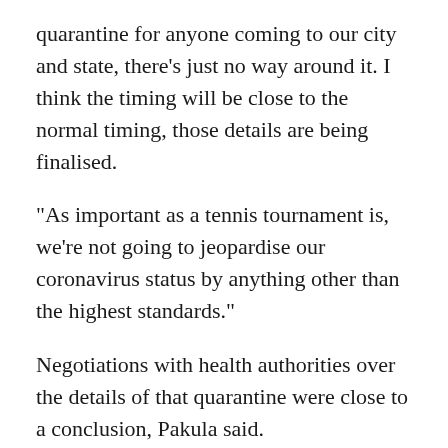quarantine for anyone coming to our city and state, there's just no way around it. I think the timing will be close to the normal timing, those details are being finalised.
"As important as a tennis tournament is, we're not going to jeopardise our coronavirus status by anything other than the highest standards."
Negotiations with health authorities over the details of that quarantine were close to a conclusion, Pakula said.
"The quarantine requirements will be those that are ultimately agreed with the public health (authorities) and then it will be a matter for the ATP and the WTA about whether or not they are acceptable," he added.
"An extremely rigorous testing regime will apply to